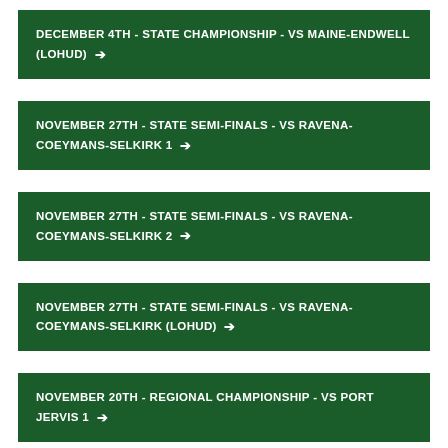DECEMBER 4TH - STATE CHAMPIONSHIP - VS MAINE-ENDWELL (LOHUD) →
NOVEMBER 27TH - STATE SEMI-FINALS - VS RAVENA-COEYMANS-SELKIRK 1 →
NOVEMBER 27TH - STATE SEMI-FINALS - VS RAVENA-COEYMANS-SELKIRK 2 →
NOVEMBER 27TH - STATE SEMI-FINALS - VS RAVENA-COEYMANS-SELKIRK (LOHUD) →
NOVEMBER 20TH - REGIONAL CHAMPIONSHIP - VS PORT JERVIS 1 →